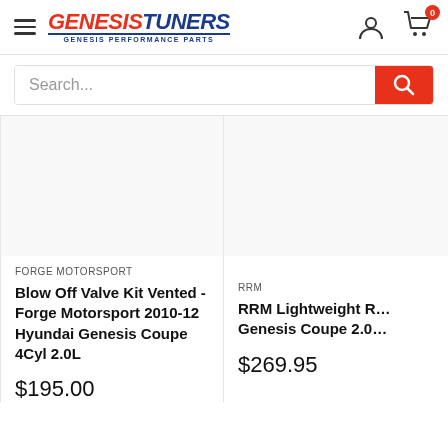[Figure (logo): Genesis Tuners logo with hamburger menu icon on left]
Search...
FORGE MOTORSPORT
Blow Off Valve Kit Vented - Forge Motorsport 2010-12 Hyundai Genesis Coupe 4Cyl 2.0L
$195.00
RRM
RRM Lightweight R... Genesis Coupe 2.0...
$269.95